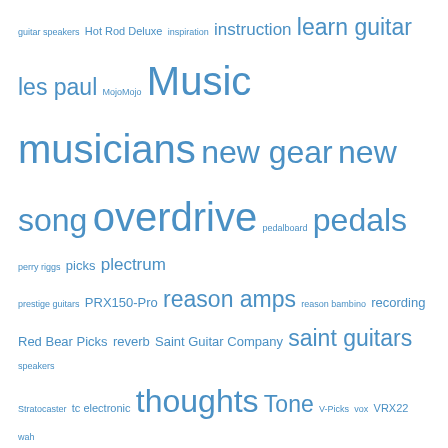[Figure (other): Tag cloud with various music-related tags in blue, varying font sizes indicating frequency/importance. Tags include: guitar speakers, Hot Rod Deluxe, inspiration, instruction, learn guitar, les paul, MojoMojo, Music, musicians, new gear, new song, overdrive, pedalboard, pedals, perry riggs, picks, plectrum, prestige guitars, PRX150-Pro, reason amps, reason bambino, recording, Red Bear Picks, reverb, Saint Guitar Company, saint guitars, speakers, Stratocaster, tc electronic, thoughts, Tone, V-Picks, vox, VRX22, wah]
Categories
Select Category (dropdown)
Archives
Select Month (dropdown)